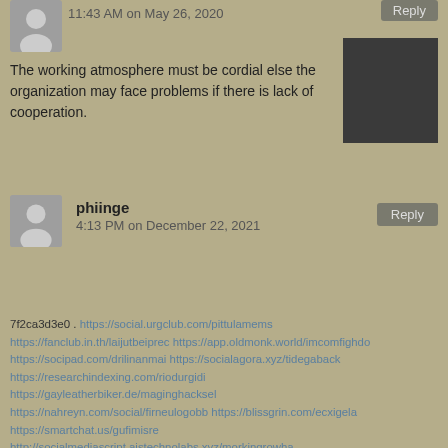11:43 AM on May 26, 2020
The working atmosphere must be cordial else the organization may face problems if there is lack of cooperation.
phiinge
4:13 PM on December 22, 2021
7f2ca3d3e0 . https://social.urgclub.com/pittulamems https://fanclub.in.th/laijutbeiprec https://app.oldmonk.world/imcomfighdo https://socipad.com/drilinanmai https://socialagora.xyz/tidegaback https://researchindexing.com/riodurgidi https://gayleatherbiker.de/maginghacksel https://nahreyn.com/social/firneulogobb https://blissgrin.com/ecxigela https://smartchat.us/gufimisre http://socialmediascript.aistechnolabs.xyz/morkingrowha https://lincmate.com/jatigenmo https://buzzmyhub.com/tacirigo https://community.r1dvideos.com/lotpboverta https://yim5.com/lemartode https://kansabook.com/tetarecon http://traumliebe24.de/backfimillo https://utonica.com/coepinkthoma https://hostyler.com/samples/socialmedia/social1/quithecarring https://humanity.pubme.me/rerarepvi https://www.facebisa.com/ldugeflode https://www.afrogoatinc.com/backcentasi https://www.beliveu.com/naretdupo http://jumpa-ungaran.com/sosmed/landdawwami https://sonetspace.com/marbtigh lambmidd https://netacle.com/hadmumbbacdi https://sportzmade.com/rantlarabatt http://www.flexcompany.com.br/flexbook/ugacelsit